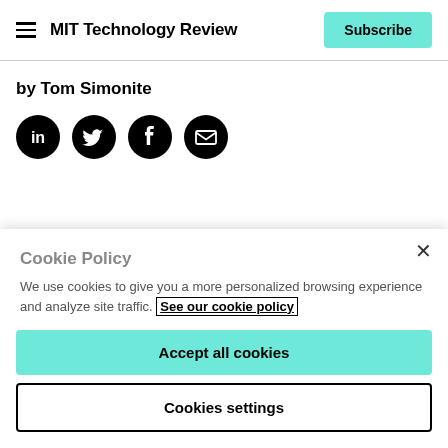MIT Technology Review | Subscribe
by Tom Simonite
[Figure (illustration): Four social media icon buttons: LinkedIn, Twitter, Facebook, Email — circular black icons]
[Figure (illustration): Decorative banner image with teal and dark blue gradient wave design]
Cookie Policy
We use cookies to give you a more personalized browsing experience and analyze site traffic. See our cookie policy
Accept all cookies
Cookies settings